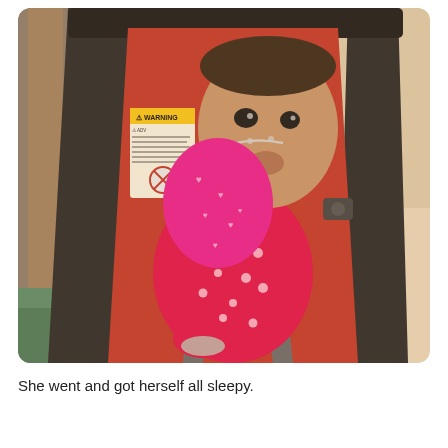[Figure (photo): A baby with a nasal cannula sitting in a red infant car seat with a warning label visible. The baby is wearing a red polka-dot outfit and has a pacifier mitten covering their hand. The photo has a warm vintage filter applied.]
She went and got herself all sleepy.